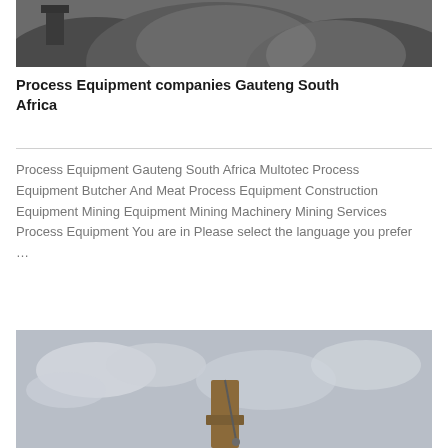[Figure (photo): Mining equipment with piles of ore/gravel, partially cropped at top of page]
Process Equipment companies Gauteng South Africa
Process Equipment Gauteng South Africa Multotec Process Equipment Butcher And Meat Process Equipment Construction Equipment Mining Equipment Mining Machinery Mining Services Process Equipment You are in Please select the language you prefer …
[Figure (photo): Construction or mining equipment crane arm against a cloudy sky, partially cropped at bottom of page]